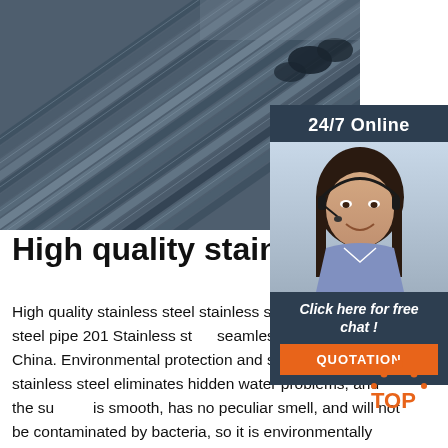[Figure (photo): Bundles of stainless steel rods/bars stacked together, viewed from the side at an angle, dark grey metallic color]
[Figure (photo): Customer service agent (woman with headset, smiling) with 24/7 Online chat panel, dark blue background, orange QUOTATION button]
High quality stainless s…
High quality stainless steel stainless steel 304 stainless steel pipe 201 Stainless steel seamless pipe made in China. Environmental protection and sanitation: 304 stainless steel eliminates hidden water problems, and the surface is smooth, has no peculiar smell, and will not be contaminated by bacteria, so it is environmentally friendly and harmless to humans.